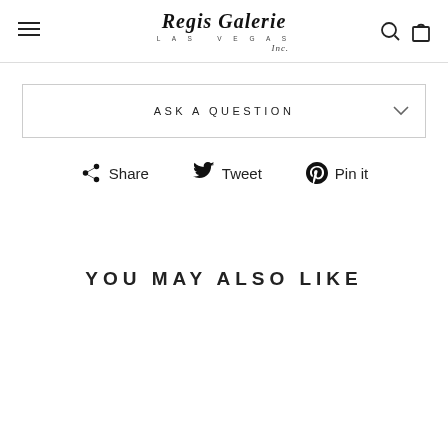Regis Galerie Inc. LAS VEGAS
ASK A QUESTION
Share  Tweet  Pin it
YOU MAY ALSO LIKE